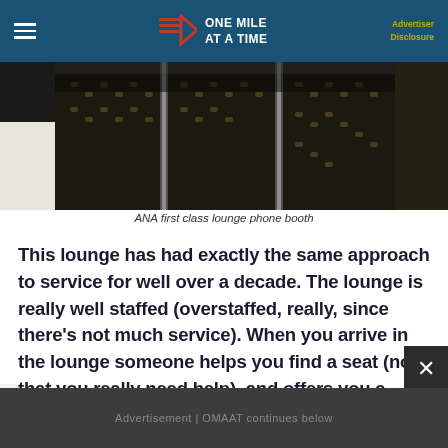ONE MILE AT A TIME | Advertiser Disclosure
[Figure (photo): ANA first class lounge phone booth area showing patterned carpet and glass/chrome phone booth dividers]
ANA first class lounge phone booth
This lounge has had exactly the same approach to service for well over a decade. The lounge is really well staffed (overstaffed, really, since there’s not much service). When you arrive in the lounge someone helps you find a seat (not that you really need help), and offers you a drink and cold towel.
Advertisement | OMAAT continues below